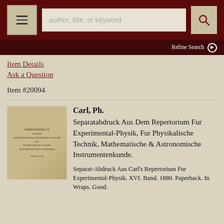author, title, or keyword
Refine Search
Item Details
Ask a Question
Item #20094
[Figure (photo): Cover of an old book with aged yellow-brown paper, small text visible on front.]
Carl, Ph.
Separatabdruck Aus Dem Repertorium Fur Experimental-Physik, Fur Physikalische Technik, Mathematische & Astronomische Instrumentenkunde.
Separat-Abdruck Aus Carl's Repertorium Fur Experimental-Physik. XVI. Band. 1880. Paperback. In Wraps. Good.